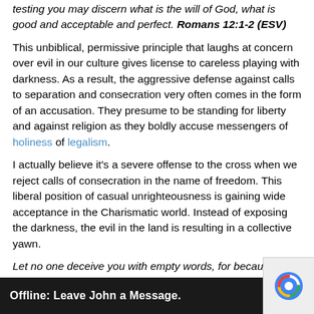testing you may discern what is the will of God, what is good and acceptable and perfect. Romans 12:1-2 (ESV)
This unbiblical, permissive principle that laughs at concern over evil in our culture gives license to careless playing with darkness. As a result, the aggressive defense against calls to separation and consecration very often comes in the form of an accusation. They presume to be standing for liberty and against religion as they boldly accuse messengers of holiness of legalism.
I actually believe it's a severe offense to the cross when we reject calls of consecration in the name of freedom. This liberal position of casual unrighteousness is gaining wide acceptance in the Charismatic world. Instead of exposing the darkness, the evil in the land is resulting in a collective yawn.
Let no one deceive you with empty words, for because of these things the wrath of God comes upon the sons of disobedience. Therefore do not become partners with them; for at one time you were darkness, but now you are light in the Lord. Walk as children of light (for the fruit of light is found in all that is good, right and true), and try to disc... Ephesians 5:6-10 (ESV)